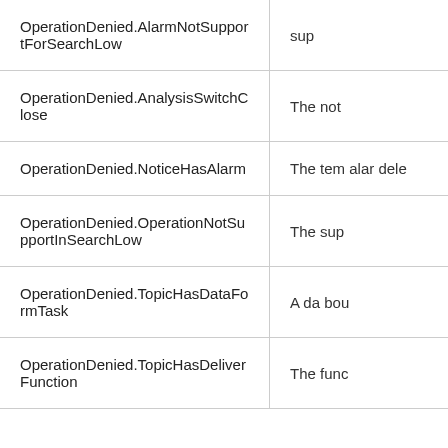| Error Code | Description |
| --- | --- |
| OperationDenied.AlarmNotSupportForSearchLow | sup… |
| OperationDenied.AnalysisSwitchClose | The not… |
| OperationDenied.NoticeHasAlarm | The tem alar dele… |
| OperationDenied.OperationNotSupportInSearchLow | The sup… |
| OperationDenied.TopicHasDataFormTask | A da bou… |
| OperationDenied.TopicHasDeliverFunction | The func… |